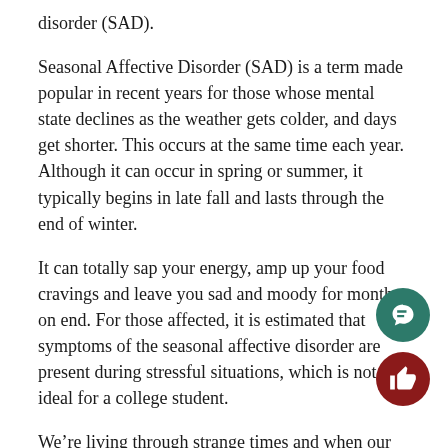disorder (SAD).
Seasonal Affective Disorder (SAD) is a term made popular in recent years for those whose mental state declines as the weather gets colder, and days get shorter. This occurs at the same time each year. Although it can occur in spring or summer, it typically begins in late fall and lasts through the end of winter.
It can totally sap your energy, amp up your food cravings and leave you sad and moody for months on end. For those affected, it is estimated that symptoms of the seasonal affective disorder are present during stressful situations, which is not ideal for a college student.
We’re living through strange times and when our day-to-day routine starts feeling like a never-ending cho… becomes easy to feel disheartened by life itself. It’s okay…